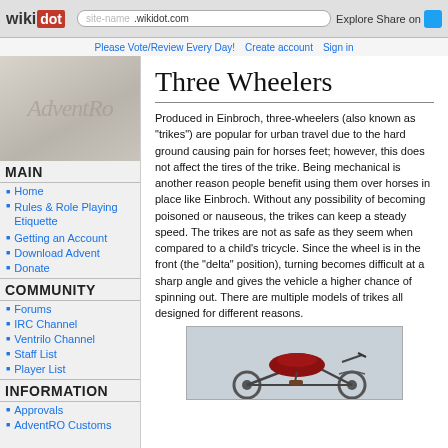wikidot | site-name .wikidot.com | Explore | Share on [Twitter]
Please Vote/Review Every Day! | Create account | Sign in
MAIN
Home
Rules & Role Playing Etiquette
Getting an Account
Download Advent
Donate
COMMUNITY
Forums
IRC Channel
Ventrilo Channel
Staff List
Player List
INFORMATION
Approvals
AdventRO Customs
Three Wheelers
Produced in Einbroch, three-wheelers (also known as "trikes") are popular for urban travel due to the hard ground causing pain for horses feet; however, this does not affect the tires of the trike. Being mechanical is another reason people benefit using them over horses in place like Einbroch. Without any possibility of becoming poisoned or nauseous, the trikes can keep a steady speed. The trikes are not as safe as they seem when compared to a child's tricycle. Since the wheel is in the front (the "delta" position), turning becomes difficult at a sharp angle and gives the vehicle a higher chance of spinning out. There are multiple models of trikes all designed for different reasons.
[Figure (photo): Photo of a red three-wheeled trike/tricycle vehicle]